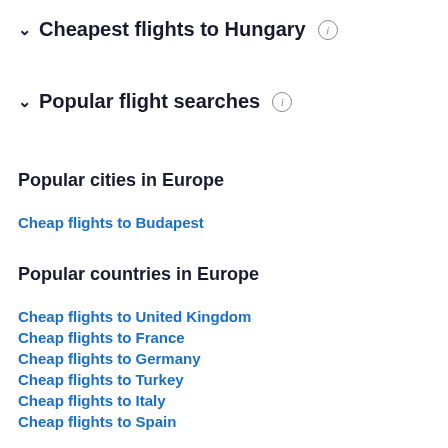Cheapest flights to Hungary
Popular flight searches
Popular cities in Europe
Cheap flights to Budapest
Popular countries in Europe
Cheap flights to United Kingdom
Cheap flights to France
Cheap flights to Germany
Cheap flights to Turkey
Cheap flights to Italy
Cheap flights to Spain